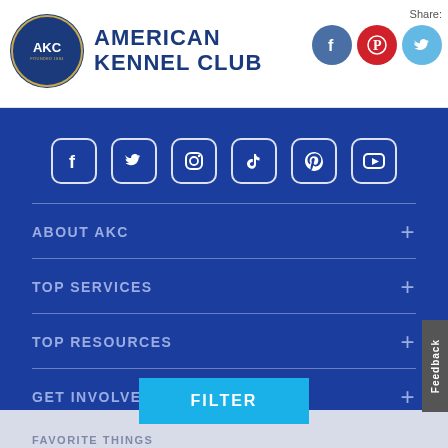[Figure (logo): American Kennel Club logo with circular badge and text]
Share:
[Figure (other): Share icons: Facebook, Pinterest, Twitter]
[Figure (other): Social media icons row: Facebook, Twitter, Instagram, TikTok, Pinterest, YouTube]
ABOUT AKC +
TOP SERVICES +
TOP RESOURCES +
GET INVOLVED +
FILTER
FAVORITE THINGS